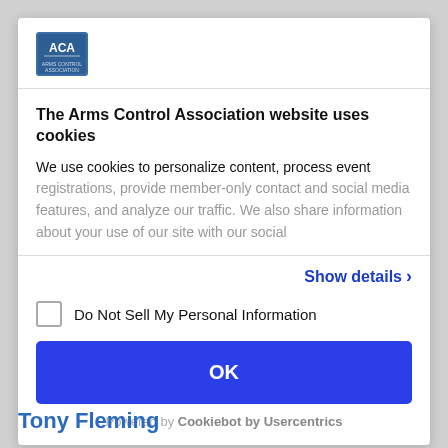[Figure (logo): ACA (Arms Control Association) blue square logo with white text]
The Arms Control Association website uses cookies
We use cookies to personalize content, process event registrations, provide member-only contact and social media features, and analyze our traffic. We also share information about your use of our site with our social
Show details >
Do Not Sell My Personal Information
OK
Powered by Cookiebot by Usercentrics
Tony Fleming